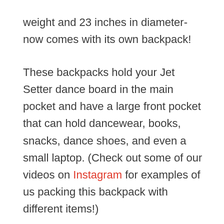weight and 23 inches in diameter-now comes with its own backpack!
These backpacks hold your Jet Setter dance board in the main pocket and have a large front pocket that can hold dancewear, books, snacks, dance shoes, and even a small laptop. (Check out some of our videos on Instagram for examples of us packing this backpack with different items!)
What would you carry in your Dance Daze Dance Boards backpack?